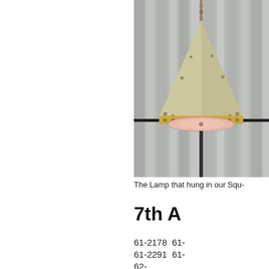[Figure (photo): A conical pendant lamp with brass rivets and a pink glass diffuser, hanging from a chain against a grey curtain background.]
The Lamp that hung in our Squ-
7th A
61-2178  61-
61-2291  61-
62-